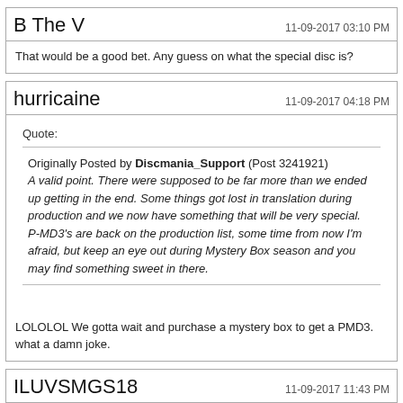B The V
11-09-2017 03:10 PM
That would be a good bet. Any guess on what the special disc is?
hurricaine
11-09-2017 04:18 PM
Quote:
Originally Posted by Discmania_Support (Post 3241921)
A valid point. There were supposed to be far more than we ended up getting in the end. Some things got lost in translation during production and we now have something that will be very special. P-MD3's are back on the production list, some time from now I'm afraid, but keep an eye out during Mystery Box season and you may find something sweet in there.
LOLOLOL We gotta wait and purchase a mystery box to get a PMD3. what a damn joke.
ILUVSMGS18